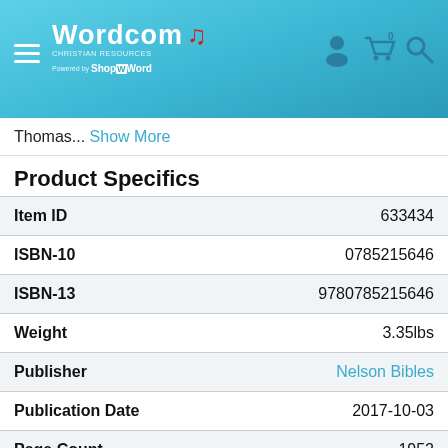Wordcom Christian Resources — powered by ShopTheWord
Thomas... Show More
Product Specifics
| Field | Value |
| --- | --- |
| Item ID | 633434 |
| ISBN-10 | 0785215646 |
| ISBN-13 | 9780785215646 |
| Weight | 3.35lbs |
| Publisher | Nelson Bibles |
| Publication Date | 2017-10-03 |
| Page Count | 1952 |
Categories: Bibles, Reference Bibles